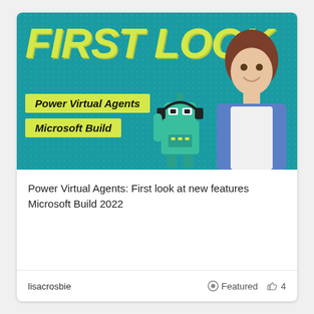[Figure (photo): Thumbnail image with teal background and halftone dot pattern. Large yellow italic text 'FIRST LOOK' at top. Two yellow badge labels: 'Power Virtual Agents' and 'Microsoft Build'. A green robot character illustration on the left-center, and a smiling woman with brown hair in a denim jacket on the right.]
Power Virtual Agents: First look at new features Microsoft Build 2022
lisacrosbie
Featured
4